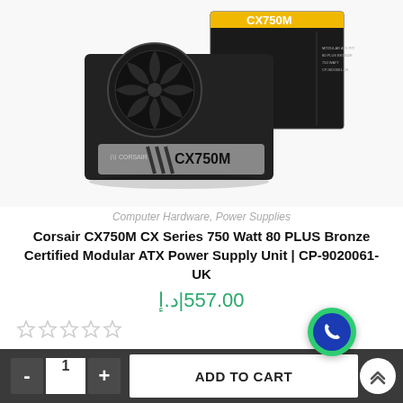[Figure (photo): Corsair CX750M power supply unit with its retail box, showing the black unit with fan visible from top and CX750M branding on the side, alongside the product box with yellow and black design]
Computer Hardware, Power Supplies
Corsair CX750M CX Series 750 Watt 80 PLUS Bronze Certified Modular ATX Power Supply Unit | CP-9020061-UK
557.00|د.إ
[Figure (other): Five empty/outline star rating icons]
- 1 + ADD TO CART